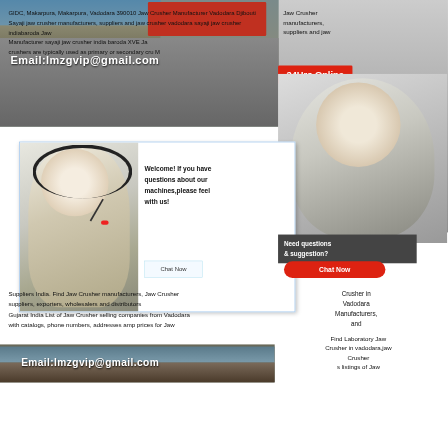[Figure (screenshot): Screenshot of a web page about Jaw Crusher manufacturers in Vadodara, India, with overlapping chat popups, headset lady images, and email overlays.]
GIDC, Makarpura, Makarpura, Vadodara 390010 Jaw Crusher Manufacturer Vadodara Djibouti Sayaji jaw crusher manufacturers, suppliers and jaw crusher vadodara sayaji jaw crusher indiabaroda Jaw Manufacturer sayaji jaw crusher india baroda XVE Jaw crushers are typically used as primary or secondary crushers
Email:lmzgvip@gmail.com
24Hrs Online
Welcome! If you have questions about our machines,please feel with us!
Chat Now
Need questions & suggestion?
Chat Now
Jaw Crusher in Vadodara Manufacturers and
Suppliers India. Find Jaw Crusher manufacturers, Jaw Crusher suppliers, exporters, wholesalers and distributors Gujarat India List of Jaw Crusher selling companies from Vadodara with catalogs, phone numbers, addresses amp prices for Jaw
Find Laboratory Jaw Crusher in vadodara,jaw Crusher s listings of Jaw
Email:lmzgvip@gmail.com